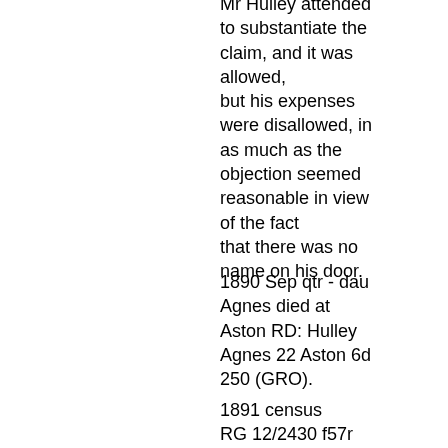Mr Hulley attended to substantiate the claim, and it was allowed, but his expenses were disallowed, in as much as the objection seemed reasonable in view of the fact that there was no name on his door.
1890 Sep qtr - dau Agnes died at Aston RD: Hulley Agnes 22 Aston 6d 250 (GRO).
1891 census RG 12/2430 f57r Aston 10 Lozells Road John Hulley Head M 68 Directory Publisher Books Lancs Manchester Mary Hulley Wife M 64 Ches Ince Mary Hulley Dau S 32 Scotland Perth